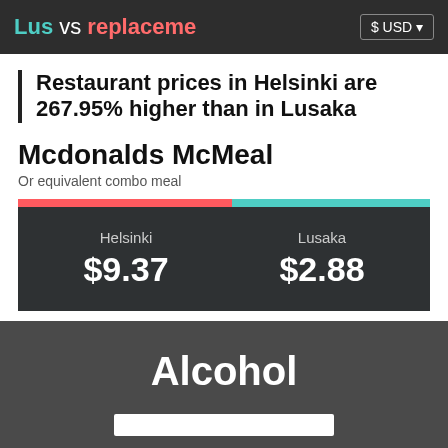Lus vs replaceme   $ USD
Restaurant prices in Helsinki are 267.95% higher than in Lusaka
Mcdonalds McMeal
Or equivalent combo meal
[Figure (bar-chart): Mcdonalds McMeal comparison]
Alcohol